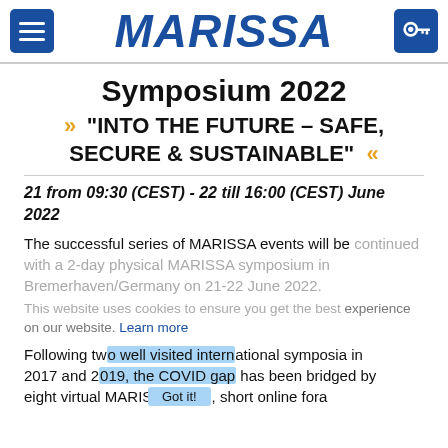MARISSA
Symposium 2022
» "INTO THE FUTURE – SAFE, SECURE & SUSTAINABLE" «
21 from 09:30 (CEST) - 22 till 16:00 (CEST) June 2022
The successful series of MARISSA events will be continued with a 2-day physical MARISSA symposium in Bremerhaven/Germany on 21-22 June 2022.
This website uses cookies to ensure you get the best experience on our website. Learn more
Following two well visited international symposia in 2017 and 2019, the COVID gap has been bridged by eight virtual MARISSA-Days, short online fora